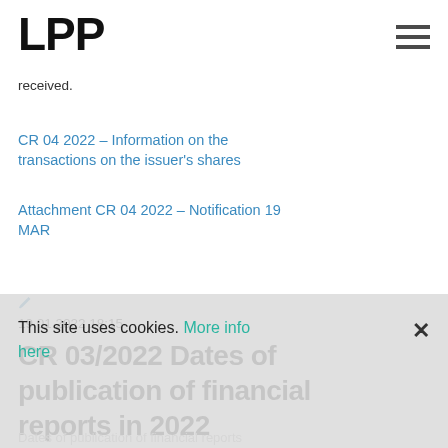LPP
received.
CR 04 2022 – Information on the transactions on the issuer's shares
Attachment CR 04 2022 – Notification 19 MAR
19.01.2022 18:15
CR 03/2022 Dates of publication of financial reports in 2022
Dates of publication of financial reports
This site uses cookies. More info here